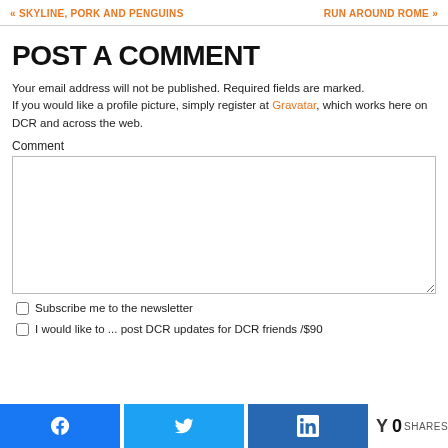« SKYLINE, PORK AND PENGUINS    RUN AROUND ROME »
POST A COMMENT
Your email address will not be published. Required fields are marked.
If you would like a profile picture, simply register at Gravatar, which works here on DCR and across the web.
Comment
Subscribe me to the newsletter
I would like to...